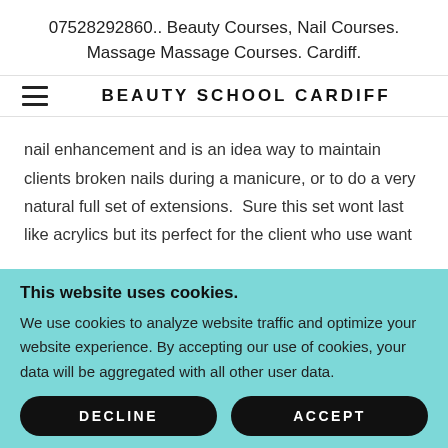07528292860.. Beauty Courses, Nail Courses. Massage Massage Courses. Cardiff.
BEAUTY SCHOOL CARDIFF
nail enhancement and is an idea way to maintain clients broken nails during a manicure, or to do a very natural full set of extensions.  Sure this set wont last like acrylics but its perfect for the client who use want
This website uses cookies.
We use cookies to analyze website traffic and optimize your website experience. By accepting our use of cookies, your data will be aggregated with all other user data.
DECLINE
ACCEPT